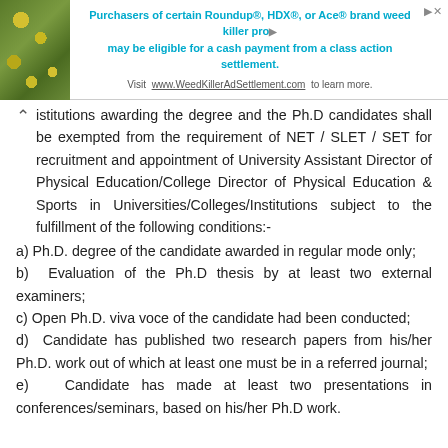[Figure (other): Advertisement banner for WeedKillerAdSettlement.com with a plant photo on the left and text about Roundup, HDX, or Ace brand weed killer settlement cash payment.]
institutions awarding the degree and the Ph.D candidates shall be exempted from the requirement of NET / SLET / SET for recruitment and appointment of University Assistant Director of Physical Education/College Director of Physical Education & Sports in Universities/Colleges/Institutions subject to the fulfillment of the following conditions:-
a) Ph.D. degree of the candidate awarded in regular mode only;
b) Evaluation of the Ph.D thesis by at least two external examiners;
c) Open Ph.D. viva voce of the candidate had been conducted;
d) Candidate has published two research papers from his/her Ph.D. work out of which at least one must be in a referred journal;
e) Candidate has made at least two presentations in conferences/seminars, based on his/her Ph.D work.